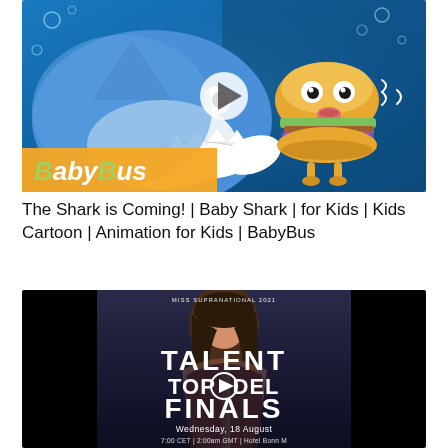[Figure (screenshot): BabyBus animated video thumbnail showing a cartoon blue shark with teeth on the left and a scared animated hamburger character on the right, underwater background with bubbles. BabyBus logo in bottom-left corner. Play button overlay in center.]
The Shark is Coming! | Baby Shark | for Kids | Kids Cartoon | Animation for Kids | BabyBus
[Figure (screenshot): Miss Supranational 2021 video thumbnail showing a woman with dark hair and text: TALENT TOP MODEL FINALS. Wednesday, 18 August. Time and channel details at bottom. Play button overlay in center.]